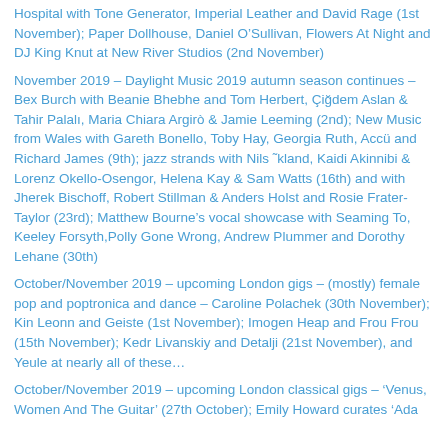Hospital with Tone Generator, Imperial Leather and David Rage (1st November); Paper Dollhouse, Daniel O'Sullivan, Flowers At Night and DJ King Knut at New River Studios (2nd November)
November 2019 – Daylight Music 2019 autumn season continues – Bex Burch with Beanie Bhebhe and Tom Herbert, Çiğdem Aslan & Tahir Palalı, Maria Chiara Argirò & Jamie Leeming (2nd); New Music from Wales with Gareth Bonello, Toby Hay, Georgia Ruth, Accü and Richard James (9th); jazz strands with Nils Økland, Kaidi Akinnibi & Lorenz Okello-Osengor, Helena Kay & Sam Watts (16th) and with Jherek Bischoff, Robert Stillman & Anders Holst and Rosie Frater-Taylor (23rd); Matthew Bourne's vocal showcase with Seaming To, Keeley Forsyth, Polly Gone Wrong, Andrew Plummer and Dorothy Lehane (30th)
October/November 2019 – upcoming London gigs – (mostly) female pop and poptronica and dance – Caroline Polachek (30th November); Kin Leonn and Geiste (1st November); Imogen Heap and Frou Frou (15th November); Kedr Livanskiy and Detalji (21st November), and Yeule at nearly all of these…
October/November 2019 – upcoming London classical gigs – 'Venus, Women And The Guitar' (27th October); Emily Howard curates 'Ada